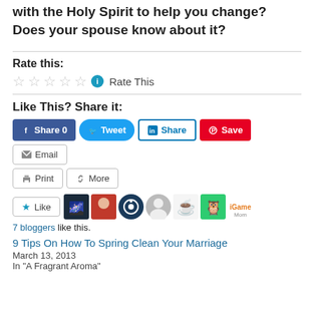heart? What is one thing you are currently working with the Holy Spirit to help you change? Does your spouse know about it?
Rate this:
[Figure (other): Five empty star rating widgets with an info icon and 'Rate This' label]
Like This? Share it:
[Figure (other): Social share buttons: Facebook Share 0, Tweet, LinkedIn Share, Pinterest Save, Email, Print, More]
[Figure (other): Like button and 7 blogger avatars row]
7 bloggers like this.
9 Tips On How To Spring Clean Your Marriage
March 13, 2013
In "A Fragrant Aroma"